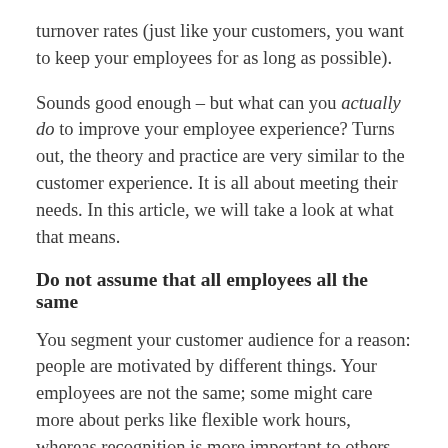turnover rates (just like your customers, you want to keep your employees for as long as possible).
Sounds good enough – but what can you actually do to improve your employee experience? Turns out, the theory and practice are very similar to the customer experience. It is all about meeting their needs. In this article, we will take a look at what that means.
Do not assume that all employees all the same
You segment your customer audience for a reason: people are motivated by different things. Your employees are not the same; some might care more about perks like flexible work hours, whereas recognition is more important to others. If you want to create a good working experience, it is important to understand how to best communicate and reward